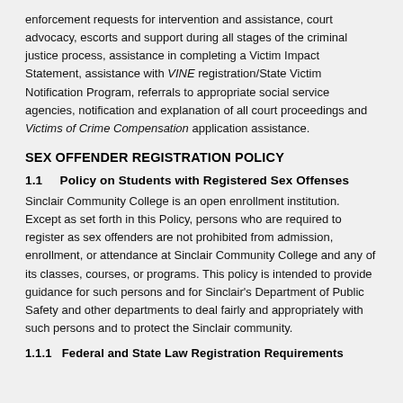enforcement requests for intervention and assistance, court advocacy, escorts and support during all stages of the criminal justice process, assistance in completing a Victim Impact Statement, assistance with VINE registration/State Victim Notification Program, referrals to appropriate social service agencies, notification and explanation of all court proceedings and Victims of Crime Compensation application assistance.
SEX OFFENDER REGISTRATION POLICY
1.1    Policy on Students with Registered Sex Offenses
Sinclair Community College is an open enrollment institution.  Except as set forth in this Policy, persons who are required to register as sex offenders are not prohibited from admission, enrollment, or attendance at Sinclair Community College and any of its classes, courses, or programs. This policy is intended to provide guidance for such persons and for Sinclair's Department of Public Safety and other departments to deal fairly and appropriately with such persons and to protect the Sinclair community.
1.1.1   Federal and State Law Registration Requirements